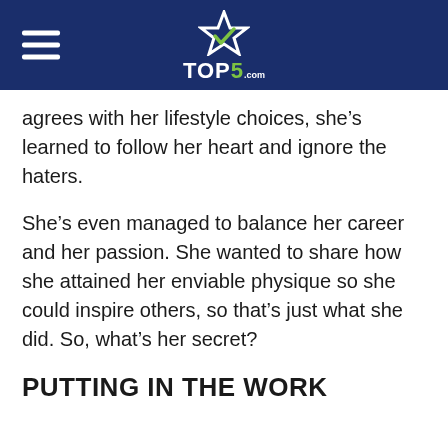TOP5.com
agrees with her lifestyle choices, she’s learned to follow her heart and ignore the haters.
She’s even managed to balance her career and her passion. She wanted to share how she attained her enviable physique so she could inspire others, so that’s just what she did. So, what’s her secret?
PUTTING IN THE WORK